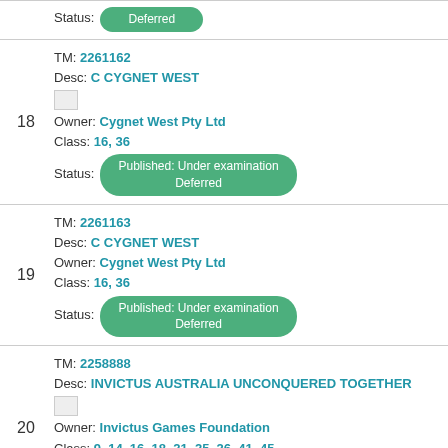Status: Deferred (partial, top of page)
18 | TM: 2261162 | Desc: C CYGNET WEST | Owner: Cygnet West Pty Ltd | Class: 16, 36 | Status: Published: Under examination Deferred
19 | TM: 2261163 | Desc: C CYGNET WEST | Owner: Cygnet West Pty Ltd | Class: 16, 36 | Status: Published: Under examination Deferred
20 | TM: 2258888 | Desc: INVICTUS AUSTRALIA UNCONQUERED TOGETHER | Owner: Invictus Games Foundation | Class: 9, 14, 16, 18, 21, 25, 26, 41, 45 | Status: Published: Under examination Deferred
21 | TM: 2258891 | Desc: INVICTUS AUSTRALIA | Owner: Invictus Games Foundation